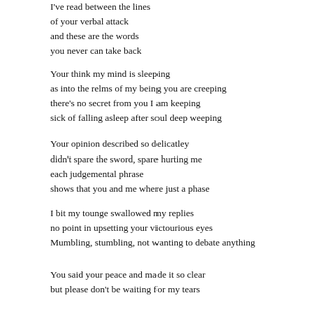I've read between the lines
of your verbal attack
and these are the words
you never can take back
Your think my mind is sleeping
as into the relms of my being you are creeping
there's no secret from you I am keeping
sick of falling asleep after soul deep weeping
Your opinion described so delicatley
didn't spare the sword, spare hurting me
each judgemental phrase
shows that you and me where just a phase
I bit my tounge swallowed my replies
no point in upsetting your victourious eyes
Mumbling, stumbling, not wanting to debate anything
You said your peace and made it so clear
but please don't be waiting for my tears